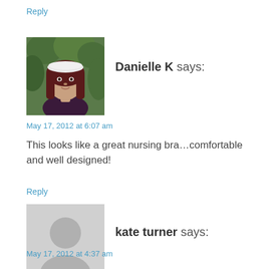Reply
[Figure (photo): Avatar photo of Danielle K, a woman with long dark hair wearing a white headband, outdoors with green foliage background]
Danielle K says:
May 17, 2012 at 6:07 am
This looks like a great nursing bra…comfortable and well designed!
Reply
[Figure (illustration): Generic grey placeholder avatar silhouette of a person]
kate turner says:
May 17, 2012 at 4:37 am
I am super picky when it comes to a nursing bra. I like